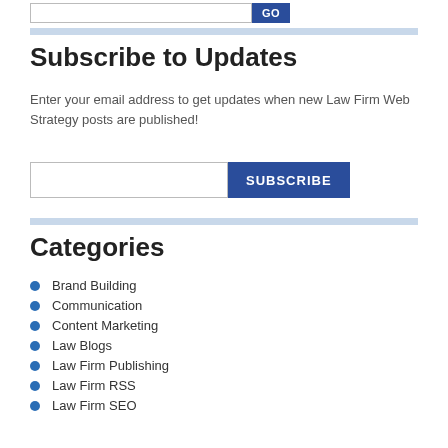[Figure (other): Search input box with GO button at the top of the page]
Subscribe to Updates
Enter your email address to get updates when new Law Firm Web Strategy posts are published!
[Figure (other): Email input field with SUBSCRIBE button]
Categories
Brand Building
Communication
Content Marketing
Law Blogs
Law Firm Publishing
Law Firm RSS
Law Firm SEO